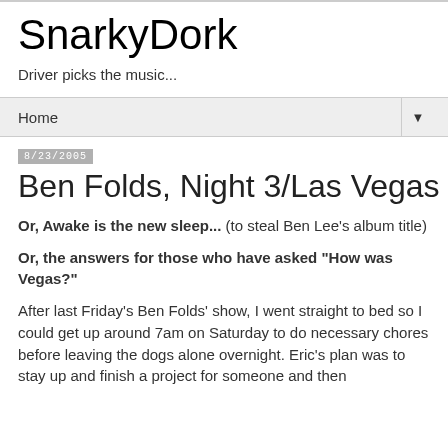SnarkyDork
Driver picks the music...
Home ▼
8/23/2005
Ben Folds, Night 3/Las Vegas
Or, Awake is the new sleep... (to steal Ben Lee's album title)
Or, the answers for those who have asked "How was Vegas?"
After last Friday's Ben Folds' show, I went straight to bed so I could get up around 7am on Saturday to do necessary chores before leaving the dogs alone overnight. Eric's plan was to stay up and finish a project for someone and then